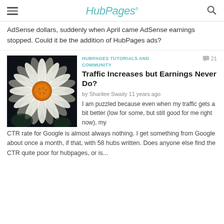HubPages
AdSense dollars, suddenly when April came AdSense earnings stopped. Could it be the addition of HubPages ads?
[Figure (photo): Close-up photo of a white daisy flower with orange center, water droplets on petals, dark background]
HUBPAGES TUTORIALS AND COMMUNITY
21 comments
Traffic Increases but Earnings Never Do?
by Sharilee Swaity 11 years ago
I am puzzled because even when my traffic gets a bit better (low for some, but still good for me right now), my CTR rate for Google is almost always nothing. I get something from Google about once a month, if that, with 58 hubs written. Does anyone else find the CTR quite poor for hubpages, or is...